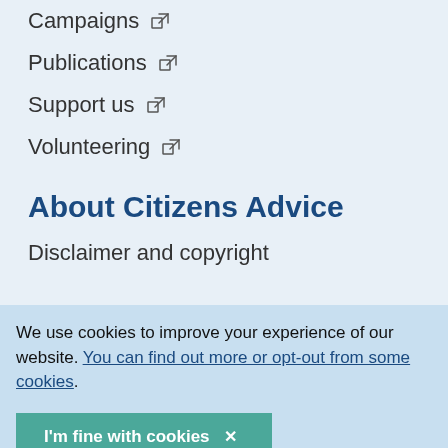Campaigns ↗
Publications ↗
Support us ↗
Volunteering ↗
About Citizens Advice
Disclaimer and copyright
We use cookies to improve your experience of our website. You can find out more or opt-out from some cookies.
I'm fine with cookies ×